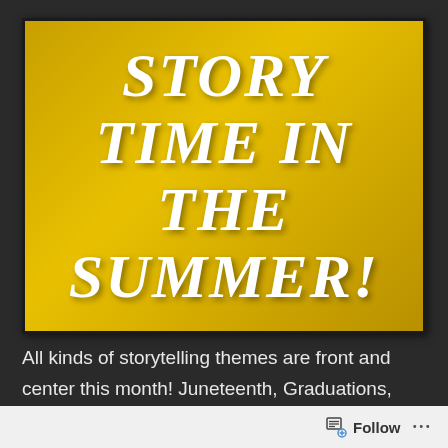[Figure (illustration): Gold/yellow gradient banner with large bold white italic text reading STORY TIME IN THE SUMMER!]
All kinds of storytelling themes are front and center this month! Juneteenth, Graduations, Father's Day, and many, many, more. In-person shows are increasing, but virtual shows are still here and have
Follow ...